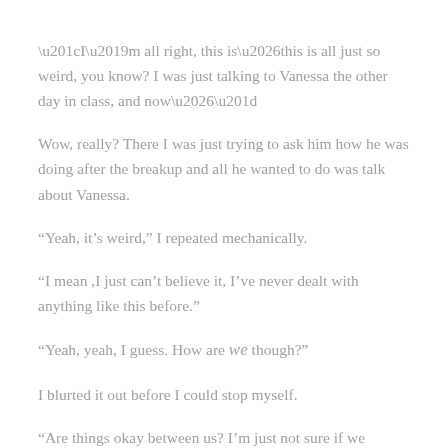“I’m all right, this is…this is all just so weird, you know? I was just talking to Vanessa the other day in class, and now…”
Wow, really? There I was just trying to ask him how he was doing after the breakup and all he wanted to do was talk about Vanessa.
“Yeah, it’s weird,” I repeated mechanically.
“I mean ,I just can’t believe it, I’ve never dealt with anything like this before.”
“Yeah, yeah, I guess. How are we though?”
I blurted it out before I could stop myself.
“Are things okay between us? I’m just not sure if we should talk about things now that we’ve had a little time to—”